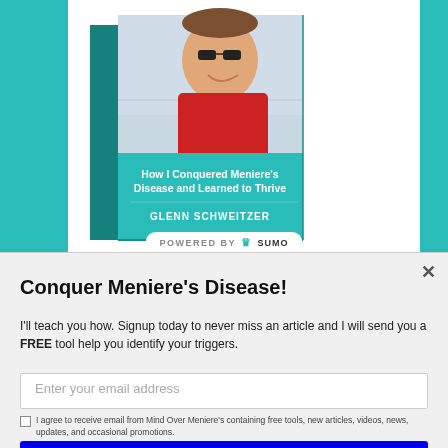[Figure (illustration): Book cover showing a man in red shirt wearing sunglasses near water. Book title reads 'How I Conquered Meniere's Disease and Learned to Thrive' by Glenn Schweitzer. Displayed as a 3D book. Powered by SUMO badge visible.]
Conquer Meniere's Disease!
I'll teach you how. Signup today to never miss an article and I will send you a FREE tool help you identify your triggers.
Enter your email address
I agree to receive email from Mind Over Meniere's containing free tools, new articles, videos, news, updates, and occasional promotions.
I CHOOSE HEALTH